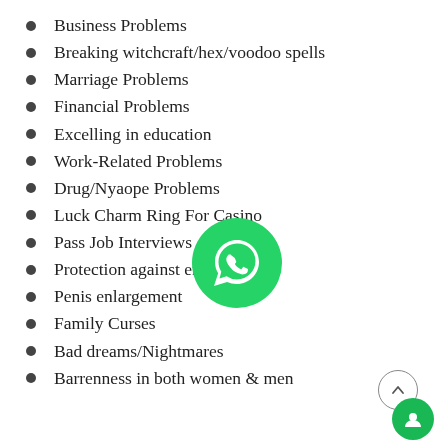Business Problems
Breaking witchcraft/hex/voodoo spells
Marriage Problems
Financial Problems
Excelling in education
Work-Related Problems
Drug/Nyaope Problems
Luck Charm Ring For Casino
Pass Job Interviews
Protection against enemies
Penis enlargement
Family Curses
Bad dreams/Nightmares
Barrenness in both women & men
[Figure (logo): WhatsApp green logo/button overlay on list]